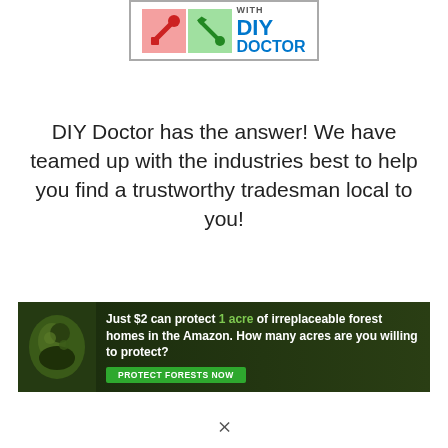[Figure (logo): DIY Doctor logo with wrench and screwdriver icons in red and green boxes, with 'DIY DOCTOR' text in blue]
DIY Doctor has the answer! We have teamed up with the industries best to help you find a trustworthy tradesman local to you!
[Figure (infographic): Advertisement banner: 'Just $2 can protect 1 acre of irreplaceable forest homes in the Amazon. How many acres are you willing to protect?' with a 'PROTECT FORESTS NOW' green button and an animal image on dark forest background]